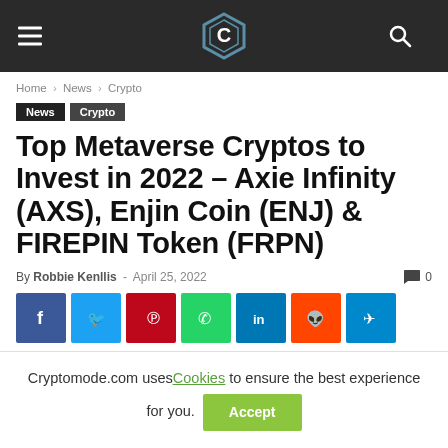CryptoMode logo and navigation bar
Home › News › Crypto
News  Crypto
Top Metaverse Cryptos to Invest in 2022 – Axie Infinity (AXS), Enjin Coin (ENJ) & FIREPIN Token (FRPN)
By Robbie Kenllis - April 25, 2022   0
[Figure (infographic): Social sharing buttons: Facebook, Twitter, Pinterest, WhatsApp, LinkedIn, Reddit, Telegram]
Cryptomode.com uses Cookies to ensure the best experience for you. Accept